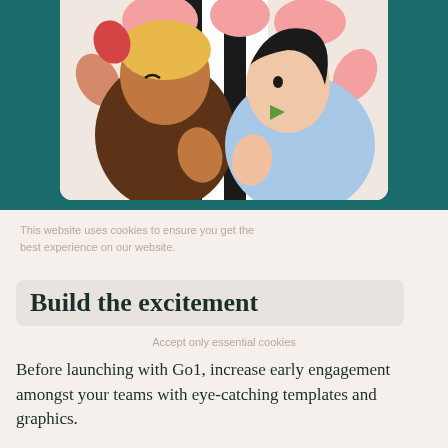[Figure (illustration): Illustration on teal background showing two diverse people giving thumbs up gestures with speech bubbles, set against a black-and-white striped background. Left person has blonde hair and brown skin wearing a brown top; right person has dark hair and light skin wearing a blue top.]
This website uses cookies to ensure you get the best experience on our website.
Accept only essential cookies
Build the excitement
Accept only essential cookies
Before launching with Go1, increase early engagement amongst your teams with eye-catching templates and graphics.